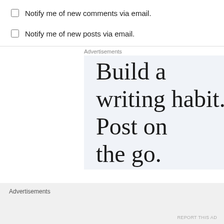Notify me of new comments via email.
Notify me of new posts via email.
Advertisements
[Figure (infographic): Advertisement banner with text 'Build a writing habit. Post on the go.' on a light blue-grey background, with a close (X) button in the bottom right corner.]
Advertisements
REPORT THIS AD